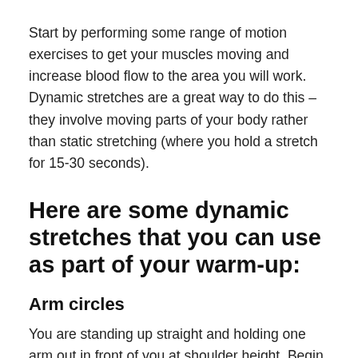Start by performing some range of motion exercises to get your muscles moving and increase blood flow to the area you will work. Dynamic stretches are a great way to do this – they involve moving parts of your body rather than static stretching (where you hold a stretch for 15-30 seconds).
Here are some dynamic stretches that you can use as part of your warm-up:
Arm circles
You are standing up straight and holding one arm out in front of you at shoulder height. Begin making small